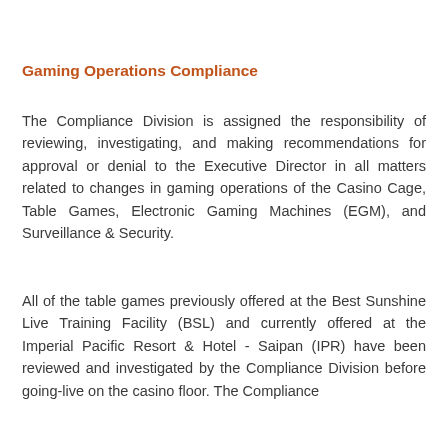Gaming Operations Compliance
The Compliance Division is assigned the responsibility of reviewing, investigating, and making recommendations for approval or denial to the Executive Director in all matters related to changes in gaming operations of the Casino Cage, Table Games, Electronic Gaming Machines (EGM), and Surveillance & Security.
All of the table games previously offered at the Best Sunshine Live Training Facility (BSL) and currently offered at the Imperial Pacific Resort & Hotel - Saipan (IPR) have been reviewed and investigated by the Compliance Division before going-live on the casino floor. The Compliance